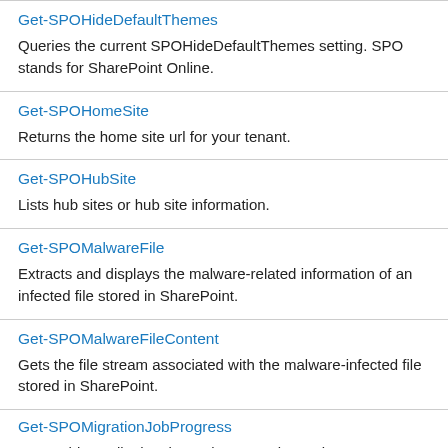| Command | Description |
| --- | --- |
| Get-SPOHideDefaultThemes | Queries the current SPOHideDefaultThemes setting. SPO stands for SharePoint Online. |
| Get-SPOHomeSite | Returns the home site url for your tenant. |
| Get-SPOHubSite | Lists hub sites or hub site information. |
| Get-SPOMalwareFile | Extracts and displays the malware-related information of an infected file stored in SharePoint. |
| Get-SPOMalwareFileContent | Gets the file stream associated with the malware-infected file stored in SharePoint. |
| Get-SPOMigrationJobProgress | Note: This cmdlet has been deprecated. To migrate to SharePoint |